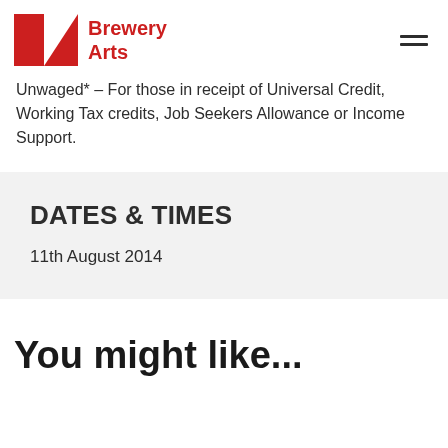Brewery Arts
Unwaged* – For those in receipt of Universal Credit, Working Tax credits, Job Seekers Allowance or Income Support.
DATES & TIMES
11th August 2014
You might like...